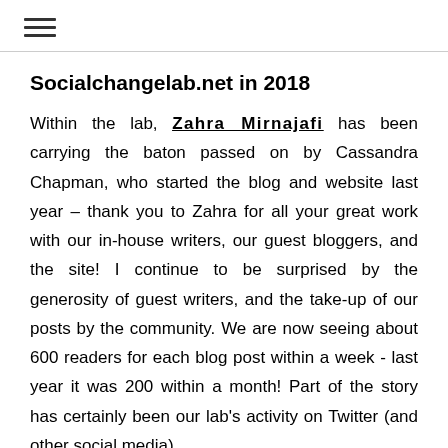≡
Socialchangelab.net in 2018
Within the lab, Zahra Mirnajafi has been carrying the baton passed on by Cassandra Chapman, who started the blog and website last year – thank you to Zahra for all your great work with our in-house writers, our guest bloggers, and the site! I continue to be surprised by the generosity of guest writers, and the take-up of our posts by the community.  We are now seeing about 600 readers for each blog post within a week - last year it was 200 within a month!  Part of the story has certainly been our lab's activity on Twitter (and other social media)